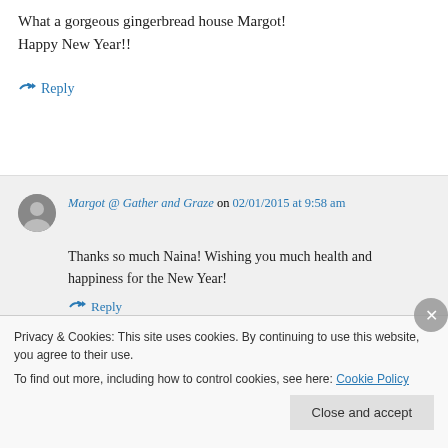What a gorgeous gingerbread house Margot! Happy New Year!!
↪ Reply
Margot @ Gather and Graze on 02/01/2015 at 9:58 am
Thanks so much Naina! Wishing you much health and happiness for the New Year!
↪ Reply
Privacy & Cookies: This site uses cookies. By continuing to use this website, you agree to their use. To find out more, including how to control cookies, see here: Cookie Policy
Close and accept